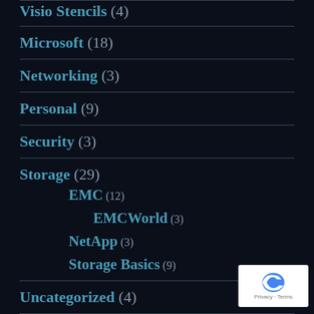Visio Stencils (4)
Microsoft (18)
Networking (3)
Personal (9)
Security (3)
Storage (29)
EMC (12)
EMCWorld (3)
NetApp (3)
Storage Basics (9)
Uncategorized (4)
VMware (160)
Documentation (10)